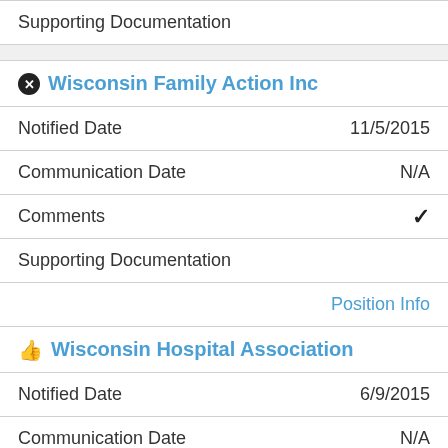| Supporting Documentation |  |
|  |  |
| ⊗ Wisconsin Family Action Inc |  |
| Notified Date | 11/5/2015 |
| Communication Date | N/A |
| Comments | ✓ |
| Supporting Documentation |  |
|  | Position Info |
| 👍 Wisconsin Hospital Association |  |
| Notified Date | 6/9/2015 |
| Communication Date | N/A |
| Comments |  |